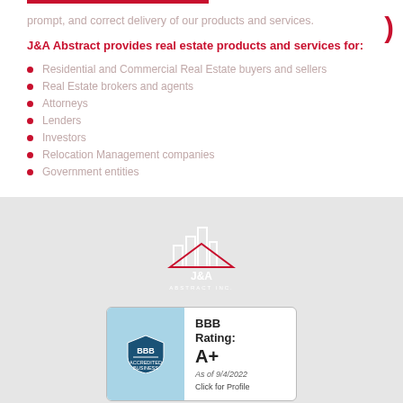prompt, and correct delivery of our products and services.
J&A Abstract provides real estate products and services for:
Residential and Commercial Real Estate buyers and sellers
Real Estate brokers and agents
Attorneys
Lenders
Investors
Relocation Management companies
Government entities
[Figure (logo): J&A Abstract Inc. logo — stylized city skyline buildings with J&A text, white on gray background]
[Figure (logo): BBB Accredited Business badge with BBB Rating: A+, As of 9/4/2022, Click for Profile]